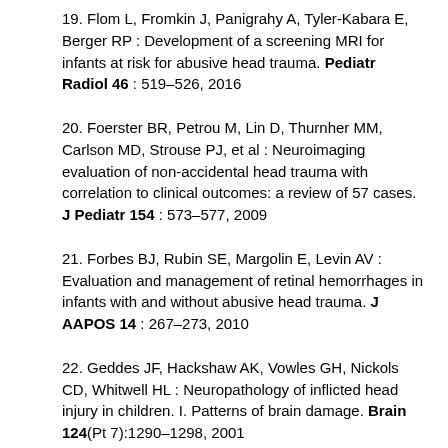19. Flom L, Fromkin J, Panigrahy A, Tyler-Kabara E, Berger RP : Development of a screening MRI for infants at risk for abusive head trauma. Pediatr Radiol 46 : 519–526, 2016
20. Foerster BR, Petrou M, Lin D, Thurnher MM, Carlson MD, Strouse PJ, et al : Neuroimaging evaluation of non-accidental head trauma with correlation to clinical outcomes: a review of 57 cases. J Pediatr 154 : 573–577, 2009
21. Forbes BJ, Rubin SE, Margolin E, Levin AV : Evaluation and management of retinal hemorrhages in infants with and without abusive head trauma. J AAPOS 14 : 267–273, 2010
22. Geddes JF, Hackshaw AK, Vowles GH, Nickols CD, Whitwell HL : Neuropathology of inflicted head injury in children. I. Patterns of brain damage. Brain 124(Pt 7):1290–1298, 2001
23. Geddes JF, Vowles GH, Hackshaw AK, Nickols CD, Scott IS, Whitwell HL : Neuropathology of inflicted head injury in children. II. Microscopic brain injury in infants. Brain 124(Pt 7):1299–1306, 2001